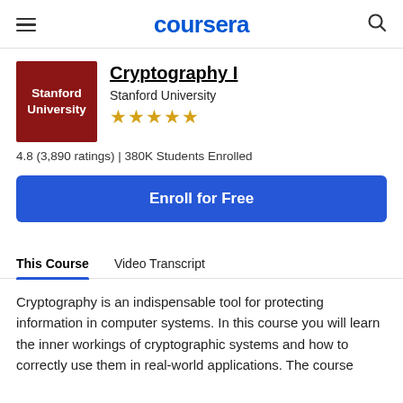coursera
Cryptography I
Stanford University
4.8 (3,890 ratings) | 380K Students Enrolled
Enroll for Free
This Course
Video Transcript
Cryptography is an indispensable tool for protecting information in computer systems. In this course you will learn the inner workings of cryptographic systems and how to correctly use them in real-world applications. The course